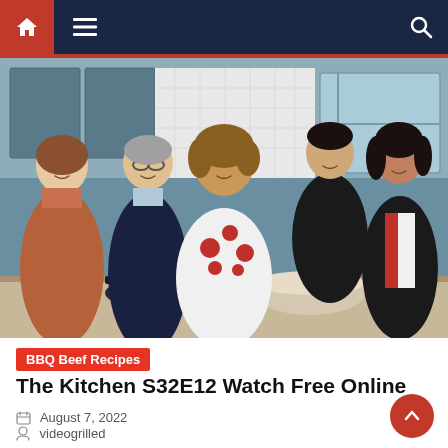Navigation bar with home, menu, and search icons
[Figure (photo): Group photo of five TV show hosts standing in a kitchen studio set, smiling at the camera. A woman in a floral top is in the center, flanked by a man in a blazer and glasses, a woman in a rust patterned top, a young man in black, and a woman in a red and white outfit.]
BBQ Beef Recipes
The Kitchen S32E12 Watch Free Online
August 7, 2022
videogrilled
The Kitchen S32E12 Description Email The Kitchen Show The